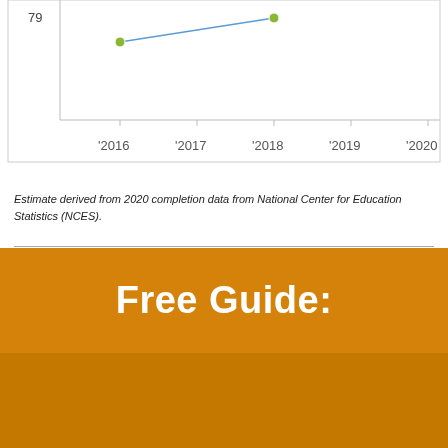[Figure (line-chart): Partial line chart showing data from 2016 to 2020, y-axis shows value 79, with green data points connected by a line]
Estimate derived from 2020 completion data from National Center for Education Statistics (NCES).
[Figure (illustration): Orange promotional banner with 'Free Guide:' text and a book/guide image titled 'Where to Find Free Money to Go Back to School']